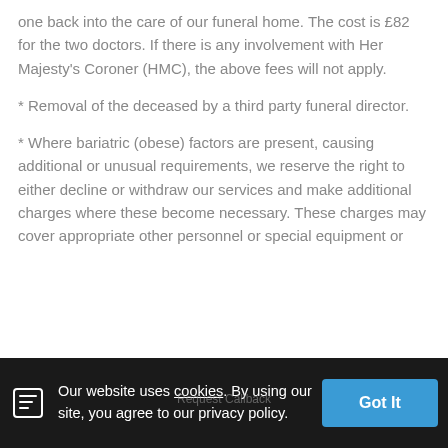one back into the care of our funeral home. The cost is £82 for the two doctors. If there is any involvement with Her Majesty's Coroner (HMC), the above fees will not apply.
* Removal of the deceased by a third party funeral director.
* Where bariatric (obese) factors are present, causing additional or unusual requirements, we reserve the right to either decline or withdraw our services and make additional charges where these become necessary. These charges may cover appropriate other personnel or special equipment or
Our website uses cookies. By using our site, you agree to our privacy policy. Got It